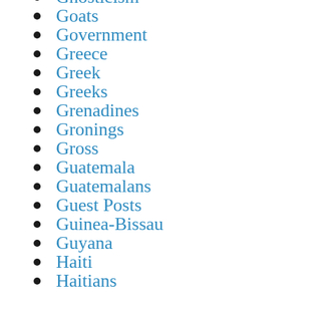Gnosticism
Goats
Government
Greece
Greek
Greeks
Grenadines
Gronings
Gross
Guatemala
Guatemalans
Guest Posts
Guinea-Bissau
Guyana
Haiti
Haitians